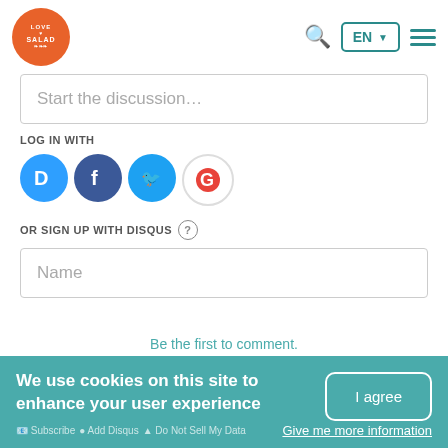[Figure (logo): Love My Salad orange circular logo]
Start the discussion...
LOG IN WITH
[Figure (infographic): Social login icons: Disqus (blue), Facebook (dark blue), Twitter (light blue), Google (red/white)]
OR SIGN UP WITH DISQUS ?
Name
Be the first to comment.
We use cookies on this site to enhance your user experience
I agree
Give me more information